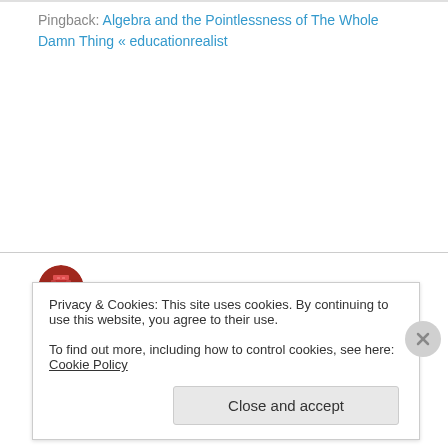Pingback: Algebra and the Pointlessness of The Whole Damn Thing « educationrealist
Bostonian on August 20, 2012 at 12:46 pm
Good article, thanks. Typo — "Anmerica" should be "America".
Privacy & Cookies: This site uses cookies. By continuing to use this website, you agree to their use.
To find out more, including how to control cookies, see here: Cookie Policy